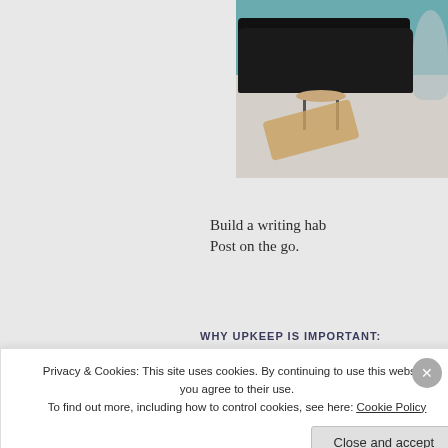[Figure (photo): Interior room photo showing a dark velvet sofa with small round coffee table, guitar on floor, floor lamp/fan on right side, teal-colored wall in background, light gray floor]
Build a writing hab
Post on the go.
WHY UPKEEP IS IMPORTANT:
Privacy & Cookies: This site uses cookies. By continuing to use this website, you agree to their use.
To find out more, including how to control cookies, see here: Cookie Policy
Close and accept